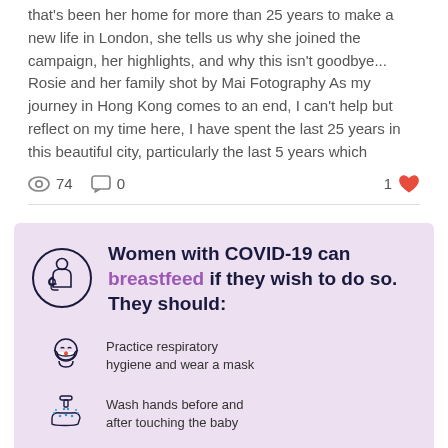that's been her home for more than 25 years to make a new life in London, she tells us why she joined the campaign, her highlights, and why this isn't goodbye... Rosie and her family shot by Mai Fotography As my journey in Hong Kong comes to an end, I can't help but reflect on my time here, I have spent the last 25 years in this beautiful city, particularly the last 5 years which
74 views, 0 comments, 1 like
[Figure (infographic): COVID-19 breastfeeding infographic: Women with COVID-19 can breastfeed if they wish to do so. They should: Practice respiratory hygiene and wear a mask. Wash hands before and after touching the baby.]